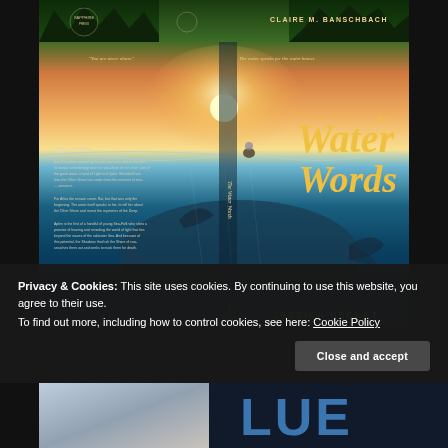[Figure (illustration): Book cover for 'The Water Words' by Jessica Hecket, published by Sapphire Press. The cover shows a dramatic split-scene: above water shows a sunset sky over a dark ocean with forest silhouette and a small figure on the water; below water shows a large whale. Golden title text 'The Water Words' overlaid. Back cover shows publisher logo, author name Claire M. Banschbach, taglines 'You are never alone' and 'The water speaks for the water knows', and blurb text.]
Privacy & Cookies: This site uses cookies. By continuing to use this website, you agree to their use.
To find out more, including how to control cookies, see here: Cookie Policy
[Figure (photo): Bottom strip showing partial images: left side shows a partial book cover with a human figure and blue/grey tones; right side shows large blue letters partially visible]